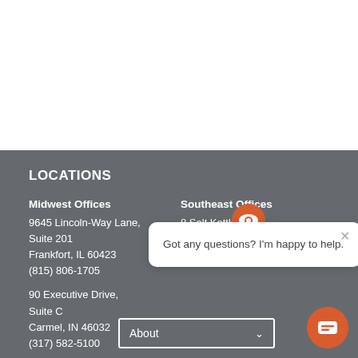LOCATIONS
Midwest Offices
9645 Lincoln-Way Lane, Suite 201
Frankfort, IL 60423
(815) 806-1705

90 Executive Drive, Suite C
Carmel, IN 46032
(317) 582-5100
Southeast Offices
8 Salt Kettle Ct.
Saint Helena Island, SC 29920
[Figure (screenshot): Chat bubble popup overlay: orange eye-icon at top, close X button, text 'Got any questions? I'm happy to help.']
About
[Figure (illustration): Orange circular chat widget button with chat/message icon, bottom-right corner]